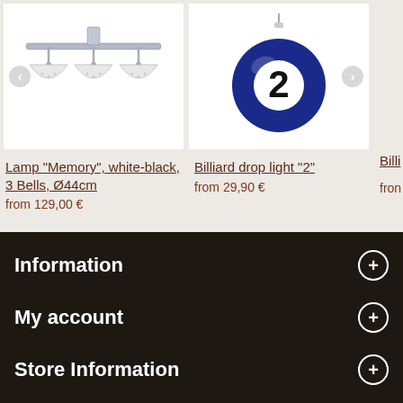[Figure (photo): Lamp Memory white-black 3 bells ceiling light product image]
Lamp "Memory", white-black, 3 Bells, Ø44cm
from 129,00 €
[Figure (photo): Billiard drop light number 2 ball product image]
Billiard drop light "2"
from 29,90 €
Billi
fron
Information
My account
Store Information